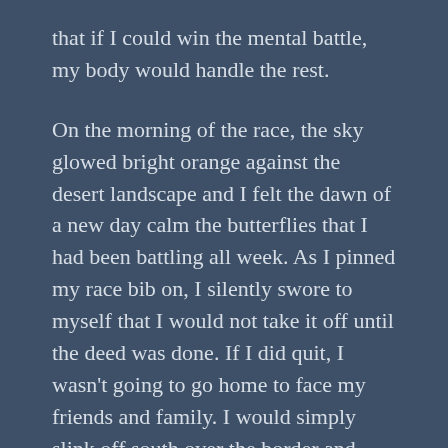that if I could win the mental battle, my body would handle the rest.
On the morning of the race, the sky glowed bright orange against the desert landscape and I felt the dawn of a new day calm the butterflies that I had been battling all week. As I pinned my race bib on, I silently swore to myself that I would not take it off until the deed was done. If I did quit, I wasn't going to go home to face my friends and family. I would simply slink off south over the border and begin a new life there. Maybe I'd even take up golf…
At 8AM, I began the first of 96 laps around the 1.05 mile track that circles Camelback Ranch on the outskirts of Phoenix. 31 other aspiring runners surrounded me as